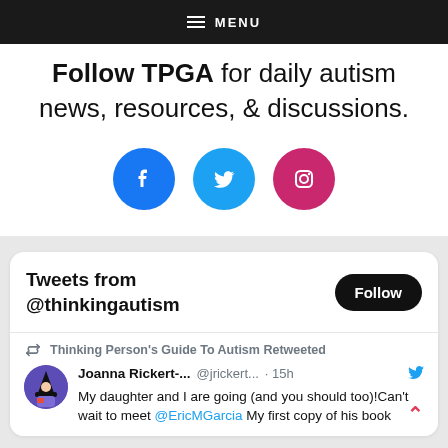MENU
Follow TPGA for daily autism news, resources, & discussions.
[Figure (illustration): Three social media icons: Facebook (blue circle), Twitter (light blue circle), Instagram (pink/red circle)]
Tweets from @thinkingautism
Thinking Person's Guide To Autism Retweeted
Joanna Rickert-... @jrickert... · 15h  My daughter and I are going (and you should too)!Can't wait to meet @EricMGarcia My first copy of his book